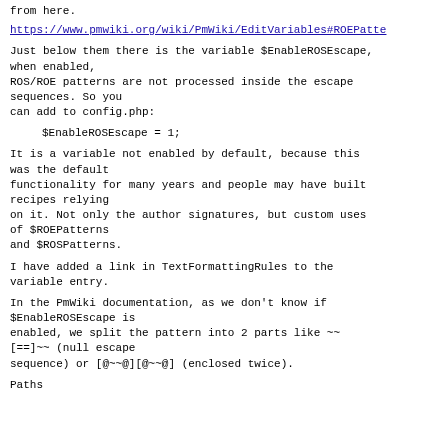from here.
https://www.pmwiki.org/wiki/PmWiki/EditVariables#ROEPatte
Just below them there is the variable $EnableROSEscape, when enabled,
ROS/ROE patterns are not processed inside the escape sequences. So you
can add to config.php:
$EnableROSEscape = 1;
It is a variable not enabled by default, because this was the default
functionality for many years and people may have built recipes relying
on it. Not only the author signatures, but custom uses of $ROEPatterns
and $ROSPatterns.
I have added a link in TextFormattingRules to the variable entry.
In the PmWiki documentation, as we don't know if $EnableROSEscape is
enabled, we split the pattern into 2 parts like ~~[==]~~ (null escape
sequence) or [@~~@][@~~@] (enclosed twice).
Paths